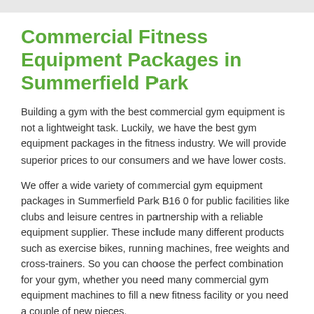Commercial Fitness Equipment Packages in Summerfield Park
Building a gym with the best commercial gym equipment is not a lightweight task. Luckily, we have the best gym equipment packages in the fitness industry. We will provide superior prices to our consumers and we have lower costs.
We offer a wide variety of commercial gym equipment packages in Summerfield Park B16 0 for public facilities like clubs and leisure centres in partnership with a reliable equipment supplier. These include many different products such as exercise bikes, running machines, free weights and cross-trainers. So you can choose the perfect combination for your gym, whether you need many commercial gym equipment machines to fill a new fitness facility or you need a couple of new pieces.
We can provide professional advice on the best options in the